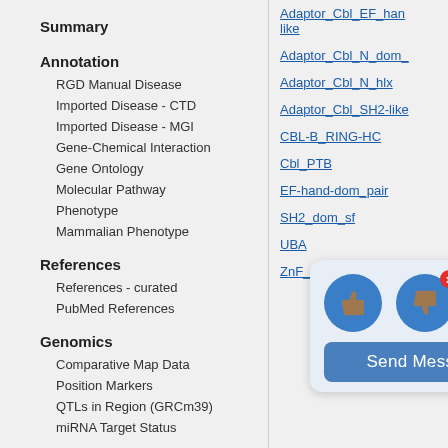Summary
Annotation
RGD Manual Disease
Imported Disease - CTD
Imported Disease - MGI
Gene-Chemical Interaction
Gene Ontology
Molecular Pathway
Phenotype
Mammalian Phenotype
References
References - curated
PubMed References
Genomics
Comparative Map Data
Position Markers
QTLs in Region (GRCm39)
miRNA Target Status
Adaptor_Cbl_EF_hand-like
Adaptor_Cbl_N_dom_
Adaptor_Cbl_N_hlx
Adaptor_Cbl_SH2-like
CBL-B_RING-HC
Cbl_PTB
EF-hand-dom_pair
SH2_dom_sf
UBA
ZnF_RING
[Figure (other): Feedback widget with thumbs up and thumbs down icons, and a Send Message button]